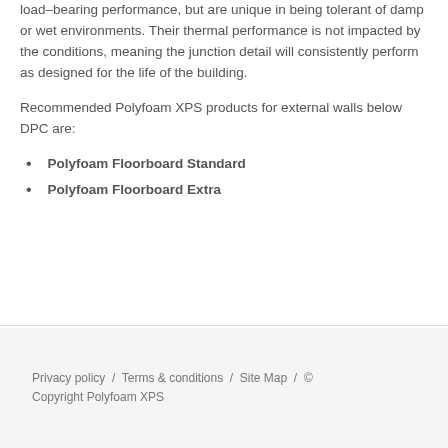Extruded polystyrene insulation boards not only offer superior load-bearing performance, but are unique in being tolerant of damp or wet environments. Their thermal performance is not impacted by the conditions, meaning the junction detail will consistently perform as designed for the life of the building.
Recommended Polyfoam XPS products for external walls below DPC are:
Polyfoam Floorboard Standard
Polyfoam Floorboard Extra
Privacy policy / Terms & conditions / Site Map / © Copyright Polyfoam XPS